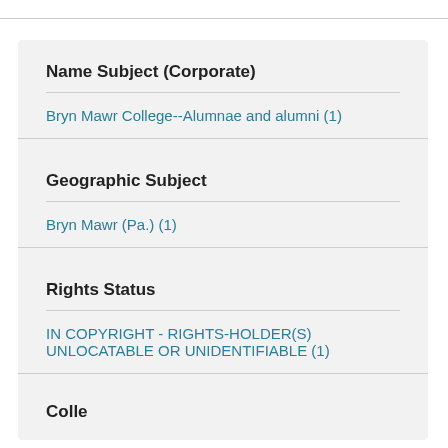Name Subject (Corporate)
Bryn Mawr College--Alumnae and alumni (1)
Geographic Subject
Bryn Mawr (Pa.) (1)
Rights Status
IN COPYRIGHT - RIGHTS-HOLDER(S) UNLOCATABLE OR UNIDENTIFIABLE (1)
Collection